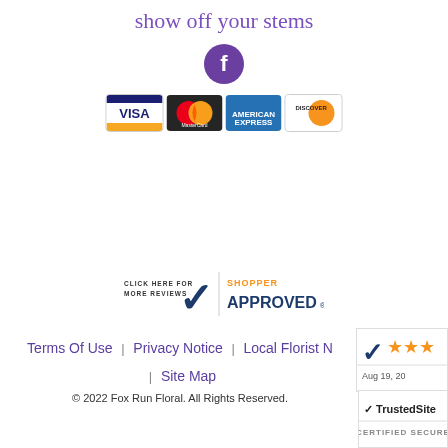show off your stems
[Figure (logo): Facebook icon - purple circle with white f]
[Figure (logo): Payment method icons: Visa, Mastercard, American Express, Discover]
[Figure (logo): Shopper Approved badge - Click here for more reviews]
[Figure (logo): Shopper Approved star rating badge showing Aug 19, 20xx]
Terms Of Use | Privacy Notice | Local Florist N... | Site Map
© 2022 Fox Run Floral. All Rights Reserved.
[Figure (logo): TrustedSite Certified Secure badge]